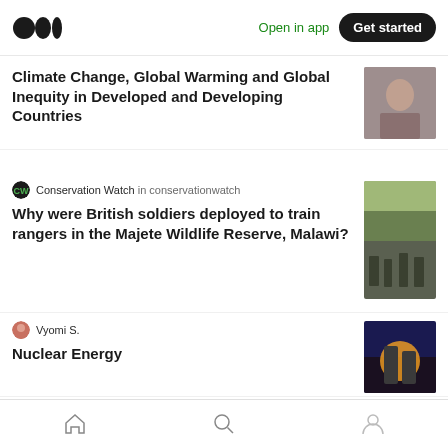Medium app header with logo, Open in app, Get started button
Climate Change, Global Warming and Global Inequity in Developed and Developing Countries
Conservation Watch in conservationwatch
Why were British soldiers deployed to train rangers in the Majete Wildlife Reserve, Malawi?
Vyomi S.
Nuclear Energy
The Good Men Project in Greener Together
365 Days of Climate Awareness 3— The
Bottom navigation: Home, Search, Profile